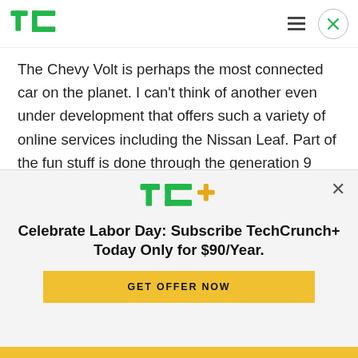[Figure (logo): TechCrunch logo - green TC letters in top left header]
The Chevy Volt is perhaps the most connected car on the planet. I can't think of another even under development that offers such a variety of online services including the Nissan Leaf. Part of the fun stuff is done through the generation 9 OnStar hardware. Facebook integration is just the start. Let
[Figure (logo): TC+ logo in green with orange plus sign, inside subscription modal]
Celebrate Labor Day: Subscribe TechCrunch+ Today Only for $90/Year.
GET OFFER NOW